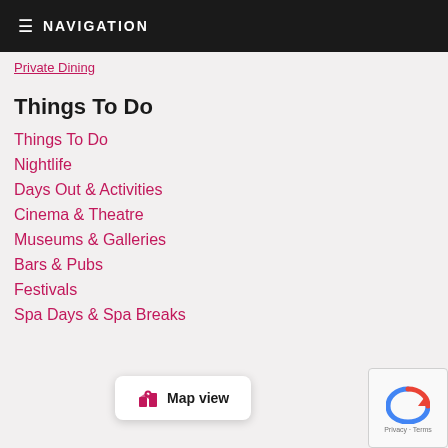≡ NAVIGATION
Private Dining
Things To Do
Things To Do
Nightlife
Days Out & Activities
Cinema & Theatre
Museums & Galleries
Bars & Pubs
Festivals
Spa Days & Spa Breaks
[Figure (other): Map view button with map pin icon]
[Figure (other): reCAPTCHA widget with Privacy and Terms links]